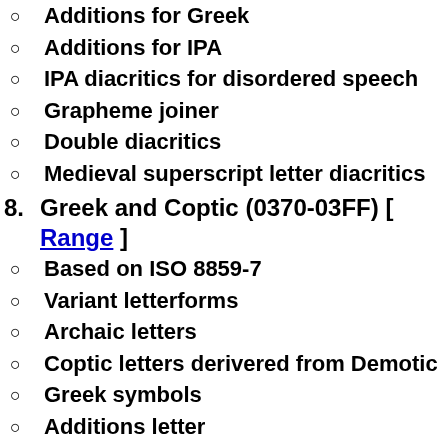Additions for Greek
Additions for IPA
IPA diacritics for disordered speech
Grapheme joiner
Double diacritics
Medieval superscript letter diacritics
8. Greek and Coptic (0370-03FF) [ Range ]
Based on ISO 8859-7
Variant letterforms
Archaic letters
Coptic letters derivered from Demotic
Greek symbols
Additions letter